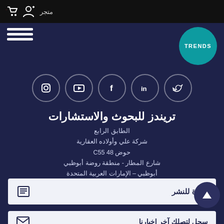متجر - navigation bar with store icon and user icon
[Figure (logo): Hamburger menu icon (three white lines)]
[Figure (logo): TRENDS circular teal logo]
[Figure (infographic): Row of five social media icons in circles: Instagram, YouTube, Facebook, LinkedIn, Twitter]
تريندز للبحوث والاستشارات
الطابق الرابع
شركة علي وأولاده العقارية
حوض 48 C55
شارع المطار - منطقة روضة أبوظبي
أبوظبي – الإمارات العربية المتحدة
هاتف: 02 6440464 (+971)
دعوة للنشر
سجل لتصلك آخر اخبارنا